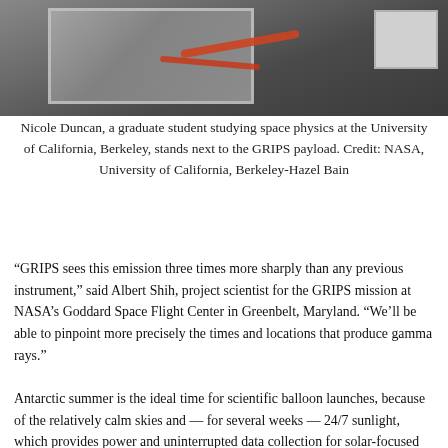[Figure (photo): Overhead/top-down view of the GRIPS payload scientific instrument in a laboratory setting, showing a white frame structure with electronics, wiring including orange/red cables, and adjacent equipment on a wheeled cart.]
Nicole Duncan, a graduate student studying space physics at the University of California, Berkeley, stands next to the GRIPS payload. Credit: NASA, University of California, Berkeley-Hazel Bain
“GRIPS sees this emission three times more sharply than any previous instrument,” said Albert Shih, project scientist for the GRIPS mission at NASA’s Goddard Space Flight Center in Greenbelt, Maryland. “We’ll be able to pinpoint more precisely the times and locations that produce gamma rays.”
Antarctic summer is the ideal time for scientific balloon launches, because of the relatively calm skies and — for several weeks — 24/7 sunlight, which provides power and uninterrupted data collection for solar-focused